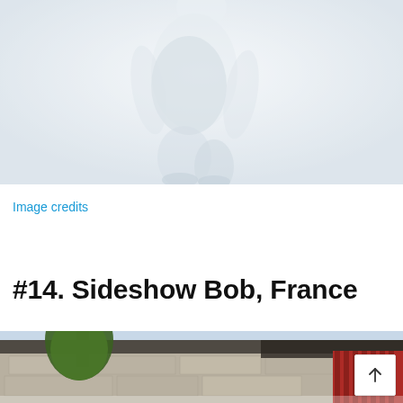[Figure (photo): Faded/washed out photo of a person figure, mostly white and light gray tones, upper body visible against a light background]
Image credits
#14. Sideshow Bob, France
[Figure (photo): Photo showing a stone building or wall with weathered texture, a green pine tree on the left, and red metal bars/shutters on the right side]